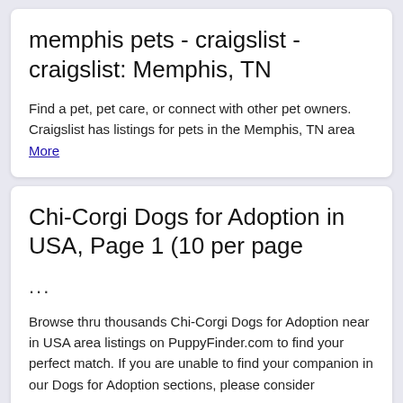memphis pets - craigslist - craigslist: Memphis, TN
Find a pet, pet care, or connect with other pet owners. Craigslist has listings for pets in the Memphis, TN area More
Chi-Corgi Dogs for Adoption in USA, Page 1 (10 per page
...
Browse thru thousands Chi-Corgi Dogs for Adoption near in USA area listings on PuppyFinder.com to find your perfect match. If you are unable to find your companion in our Dogs for Adoption sections, please consider